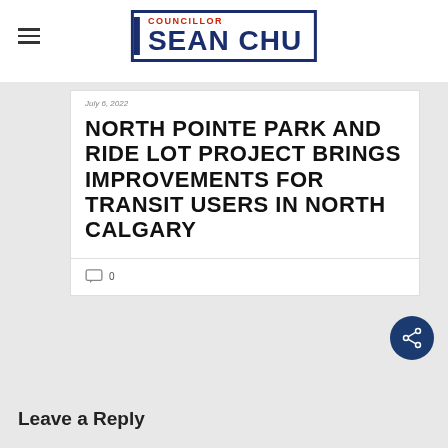[Figure (logo): Councillor Sean Chu logo with dark blue rectangular border, red COUNCILLOR text, and large dark blue SEAN CHU text]
July 6, 2022
NORTH POINTE PARK AND RIDE LOT PROJECT BRINGS IMPROVEMENTS FOR TRANSIT USERS IN NORTH CALGARY
0
Leave a Reply